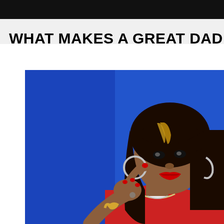WHAT MAKES A GREAT DAD
[Figure (photo): A woman with long dark hair with golden highlights and bangs, wearing a red outfit and large silver hoop earrings with a crescent moon necklace, pointing at the camera with a serious expression, photographed against a bright blue background.]